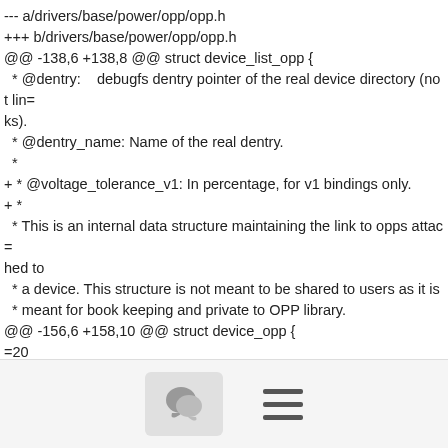--- a/drivers/base/power/opp/opp.h
+++ b/drivers/base/power/opp/opp.h
@@ -138,6 +138,8 @@ struct device_list_opp {
  * @dentry:    debugfs dentry pointer of the real device directory (not lin=
ks).
  * @dentry_name: Name of the real dentry.
  *
+ * @voltage_tolerance_v1: In percentage, for v1 bindings only.
+ *
  * This is an internal data structure maintaining the link to opps attac=
hed to
  * a device. This structure is not meant to be shared to users as it is
  * meant for book keeping and private to OPP library.
@@ -156,6 +158,10 @@ struct device_opp {
=20
        struct device_node *np;
[Figure (other): Bottom toolbar with chat bubble icon button and hamburger menu icon]